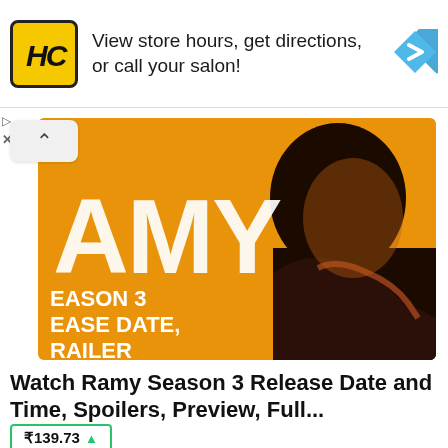[Figure (infographic): Advertisement banner with HC logo (Haircuttery or similar salon), text 'View store hours, get directions, or call your salon!', and a blue diamond navigation arrow icon on the right.]
View store hours, get directions, or call your salon!
[Figure (photo): Thumbnail image for 'Ramy Season 3' showing orange background with bold white text reading 'AMY', 'EASON 3', 'EASE DATE,', 'RAILER' and a silhouette of a bearded man in profile looking right.]
Watch Ramy Season 3 Release Date and Time, Spoilers, Preview, Full...
₹139.73 ▲